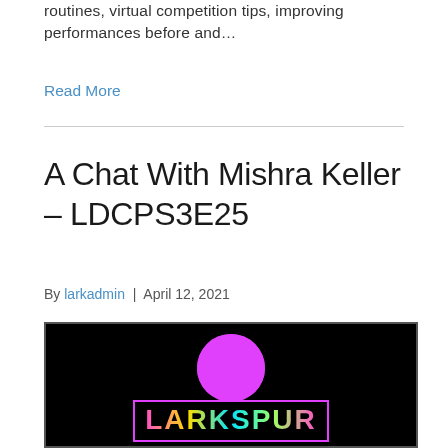routines, virtual competition tips, improving performances before and…
Read More
A Chat With Mishra Keller – LDCPS3E25
By larkadmin | April 12, 2021
[Figure (logo): Larkspur podcast logo on black background: large magenta semicircle/microphone shape above colorful rainbow-gradient text 'LARKSPUR' in a pink-bordered box]